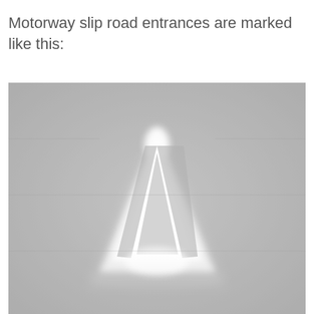Motorway slip road entrances are marked like this:
[Figure (photo): A grayscale photograph showing a motorway slip road entrance marking, featuring a white triangular road marking on gray tarmac, viewed from above or at an angle.]